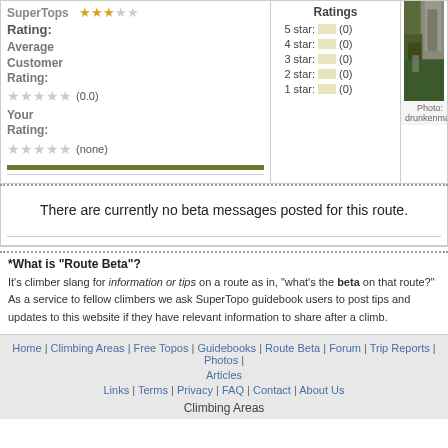Rating:
Average Customer Rating: (0.0)
Your Rating: (none)
Ratings
5 star: (0)
4 star: (0)
3 star: (0)
2 star: (0)
1 star: (0)
[Figure (photo): Rock climbing route photo with a large rocky face and vegetation]
Photo: drunkenmaster
There are currently no beta messages posted for this route.
*What is "Route Beta"?
It's climber slang for information or tips on a route as in, "what's the beta on that route?" As a service to fellow climbers we ask SuperTopo guidebook users to post tips and updates to this website if they have relevant information to share after a climb.
Home | Climbing Areas | Free Topos | Guidebooks | Route Beta | Forum | Trip Reports | Photos | Articles
Links | Terms | Privacy | FAQ | Contact | About Us
Climbing Areas